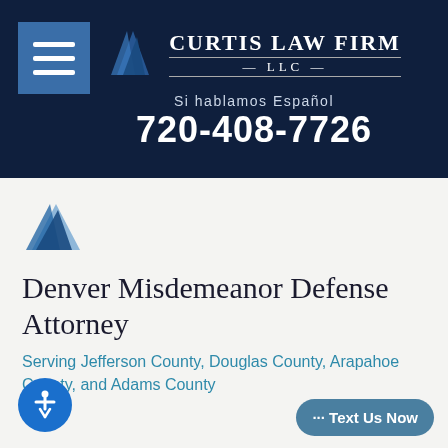[Figure (logo): Curtis Law Firm LLC logo with stylized road/path icon and firm name]
Si hablamos Español
720-408-7726
[Figure (logo): Small Curtis Law Firm road icon logo in content area]
Denver Misdemeanor Defense Attorney
Serving Jefferson County, Douglas County, Arapahoe County, and Adams County